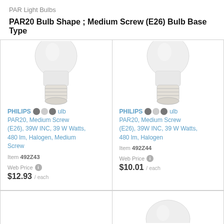PAR Light Bulbs
PAR20 Bulb Shape ; Medium Screw (E26) Bulb Base Type
[Figure (illustration): Light bulb product image (halogen PAR20 bulb, upper portion)]
PHILIPS [dots] Halogen Bulb PAR20, Medium Screw (E26), 39W INC, 39 W Watts, 480 lm, Halogen, Medium Screw
Item 492Z43
Web Price $12.93 / each
[Figure (illustration): Light bulb product image (halogen PAR20 bulb, upper portion)]
PHILIPS [dots] Halogen Bulb PAR20, Medium Screw (E26), 39W INC, 39 W Watts, 480 lm, Halogen
Item 492Z44
Web Price $10.01 / each
[Figure (illustration): Light bulb product image (partially visible at bottom of page)]